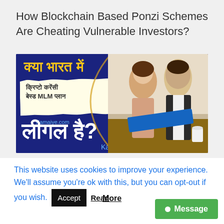How Blockchain Based Ponzi Schemes Are Cheating Vulnerable Investors?
[Figure (illustration): Promotional banner image with dark navy blue background. Left side shows Hindi text in yellow reading 'क्या भारत में' at top, then a torn paper effect with text 'क्रिप्टो करेंसी बेस्ड MLM प्लान' and 'Kamaiye.com'. Bottom has large white Hindi text 'लीगल है?' with a gold balance/scale icon. Right half shows a photo of a man and woman looking at documents together. Kamaiye branding at bottom.]
This website uses cookies to improve your experience. We'll assume you're ok with this, but you can opt-out if you wish.
Accept   Read More
● Message